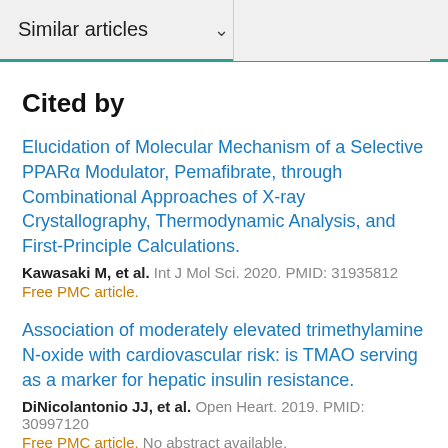Similar articles
Cited by
Elucidation of Molecular Mechanism of a Selective PPARα Modulator, Pemafibrate, through Combinational Approaches of X-ray Crystallography, Thermodynamic Analysis, and First-Principle Calculations.
Kawasaki M, et al. Int J Mol Sci. 2020. PMID: 31935812 Free PMC article.
Association of moderately elevated trimethylamine N-oxide with cardiovascular risk: is TMAO serving as a marker for hepatic insulin resistance.
DiNicolantonio JJ, et al. Open Heart. 2019. PMID: 30997120 Free PMC article. No abstract available.